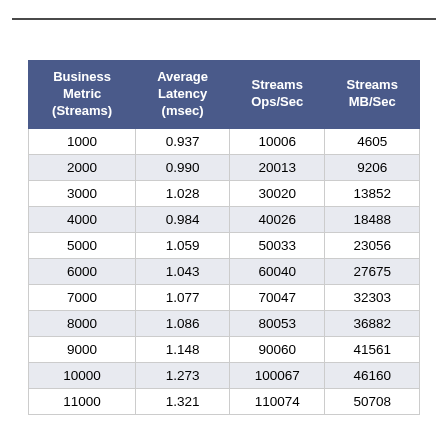| Business Metric (Streams) | Average Latency (msec) | Streams Ops/Sec | Streams MB/Sec |
| --- | --- | --- | --- |
| 1000 | 0.937 | 10006 | 4605 |
| 2000 | 0.990 | 20013 | 9206 |
| 3000 | 1.028 | 30020 | 13852 |
| 4000 | 0.984 | 40026 | 18488 |
| 5000 | 1.059 | 50033 | 23056 |
| 6000 | 1.043 | 60040 | 27675 |
| 7000 | 1.077 | 70047 | 32303 |
| 8000 | 1.086 | 80053 | 36882 |
| 9000 | 1.148 | 90060 | 41561 |
| 10000 | 1.273 | 100067 | 46160 |
| 11000 | 1.321 | 110074 | 50708 |